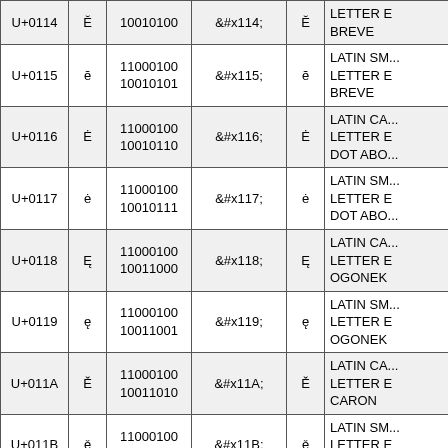| Code Point | Char | UTF-8 Binary | HTML Entity | Char | Name |
| --- | --- | --- | --- | --- | --- |
| U+0114 | Ĕ | 10010100 | &#x114; | Ĕ | LATIN ... LETTER E BREVE |
| U+0115 | ĕ | 11000100 10010101 | &#x115; | ĕ | LATIN SM... LETTER E BREVE |
| U+0116 | Ė | 11000100 10010110 | &#x116; | Ė | LATIN CA... LETTER E DOT ABO... |
| U+0117 | ė | 11000100 10010111 | &#x117; | ė | LATIN SM... LETTER E DOT ABO... |
| U+0118 | Ę | 11000100 10011000 | &#x118; | Ę | LATIN CA... LETTER E OGONEK |
| U+0119 | ę | 11000100 10011001 | &#x119; | ę | LATIN SM... LETTER E OGONEK |
| U+011A | Ě | 11000100 10011010 | &#x11A; | Ě | LATIN CA... LETTER E CARON |
| U+011B | ě | 11000100 10011011 | &#x11B; | ě | LATIN SM... LETTER E CARON |
| U+011C | ... | 11000100... | ... | ... | LATIN CA... |